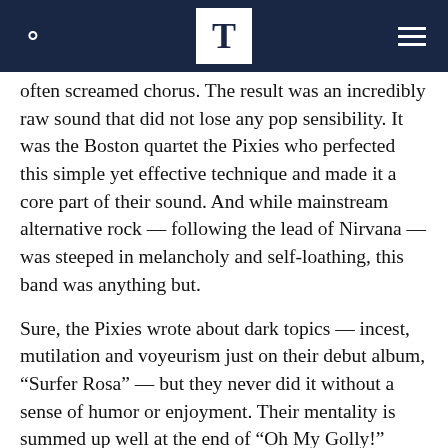T
often screamed chorus. The result was an incredibly raw sound that did not lose any pop sensibility. It was the Boston quartet the Pixies who perfected this simple yet effective technique and made it a core part of their sound. And while mainstream alternative rock — following the lead of Nirvana — was steeped in melancholy and self-loathing, this band was anything but.
Sure, the Pixies wrote about dark topics — incest, mutilation and voyeurism just on their debut album, “Surfer Rosa” — but they never did it without a sense of humor or enjoyment. Their mentality is summed up well at the end of “Oh My Golly!” where some studio banter initiated by producer Steve Albini has singer